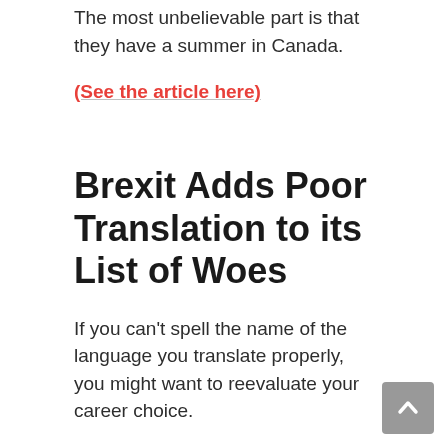The most unbelievable part is that they have a summer in Canada.
(See the article here)
Brexit Adds Poor Translation to its List of Woes
If you can't spell the name of the language you translate properly, you might want to reevaluate your career choice.
A white paper regarding the Brexit deal in 27